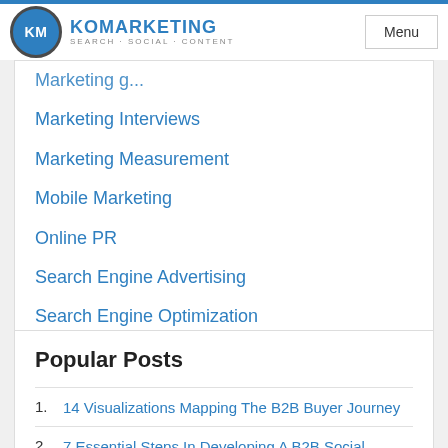KM KOMARKETING SEARCH·SOCIAL·CONTENT | Menu
Marketing Interviews
Marketing Measurement
Mobile Marketing
Online PR
Search Engine Advertising
Search Engine Optimization
Social Media Strategies
Popular Posts
1. 14 Visualizations Mapping The B2B Buyer Journey
2. 7 Essential Steps In Developing A B2B Social